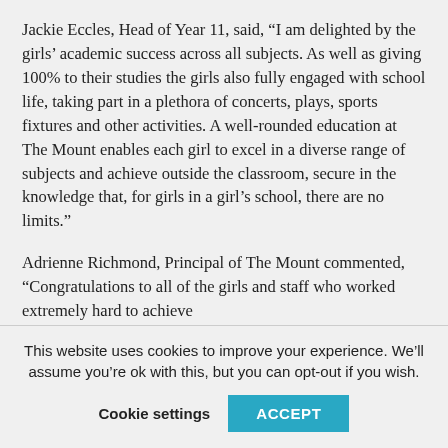Jackie Eccles, Head of Year 11, said, “I am delighted by the girls’ academic success across all subjects. As well as giving 100% to their studies the girls also fully engaged with school life, taking part in a plethora of concerts, plays, sports fixtures and other activities. A well-rounded education at The Mount enables each girl to excel in a diverse range of subjects and achieve outside the classroom, secure in the knowledge that, for girls in a girl’s school, there are no limits.”
Adrienne Richmond, Principal of The Mount commented, “Congratulations to all of the girls and staff who worked extremely hard to achieve
This website uses cookies to improve your experience. We’ll assume you’re ok with this, but you can opt-out if you wish.
Cookie settings   ACCEPT